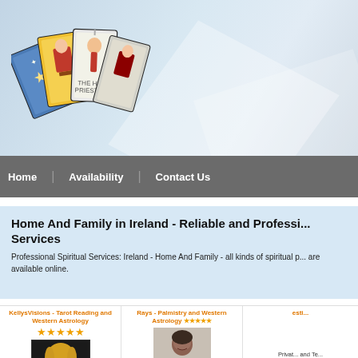[Figure (illustration): Tarot cards fanned out illustration in website header banner with light blue gradient background and geometric shapes]
Home | Availability | Contact Us
Home And Family in Ireland - Reliable and Professional Services
Professional Spiritual Services: Ireland - Home And Family - all kinds of spiritual p... are available online.
KellysVisions - Tarot Reading and Western Astrology ★★★★★
[Figure (photo): Photo of a woman with blonde hair on dark background - KellysVisions reader]
Chat with KellsVisions - Tarot
Rays - Palmistry and Western Astrology ★★★★★
[Figure (photo): Photo of a man smiling with hands clasped - Rays reader]
Get one on one with Rays - Palmistry and Western Astrology -
esti...
Privat... and Te...